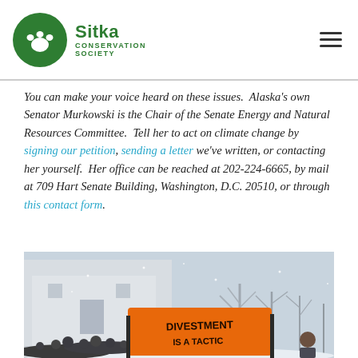Sitka Conservation Society
You can make your voice heard on these issues.  Alaska's own Senator Murkowski is the Chair of the Senate Energy and Natural Resources Committee.  Tell her to act on climate change by signing our petition, sending a letter we've written, or contacting her yourself.  Her office can be reached at 202-224-6665, by mail at 709 Hart Senate Building, Washington, D.C. 20510, or through this contact form.
[Figure (photo): Crowd of protesters in snow holding an orange banner reading 'DIVESTMENT IS A TACTIC' in front of a large stone building with bare winter trees]